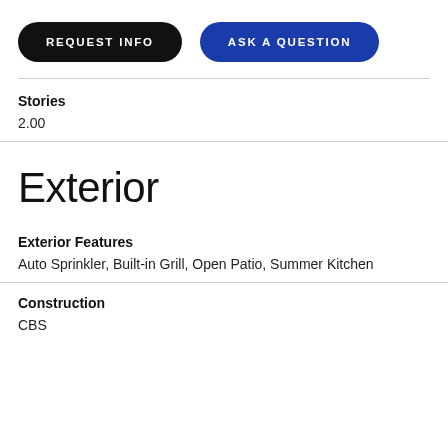[Figure (other): Two call-to-action buttons: 'REQUEST INFO' (black pill button) and 'ASK A QUESTION' (dark blue pill button)]
Stories
2.00
Exterior
Exterior Features
Auto Sprinkler, Built-in Grill, Open Patio, Summer Kitchen
Construction
CBS